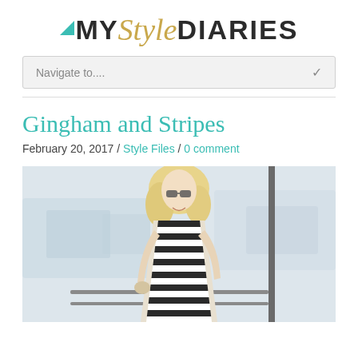MY Style DIARIES
Navigate to....
Gingham and Stripes
February 20, 2017 / Style Files / 0 comment
[Figure (photo): Blonde woman wearing sunglasses and a black-and-white striped top with a light cardigan, standing near a marina railing with boats in the background.]